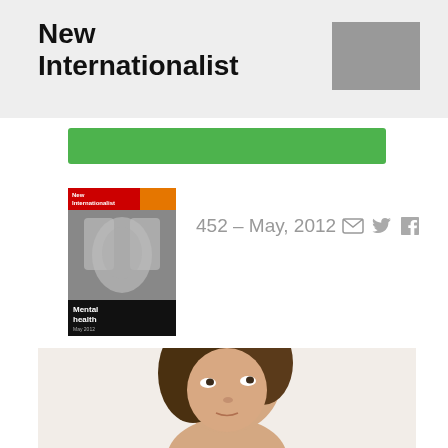New Internationalist
[Figure (screenshot): Green button bar partially visible at top of content area]
[Figure (photo): Magazine cover for New Internationalist issue 452, May 2012, showing hands covering a face with 'Mental health' text]
452 – May, 2012
[Figure (photo): Photo of a young woman with brown hair looking upward against a light background]